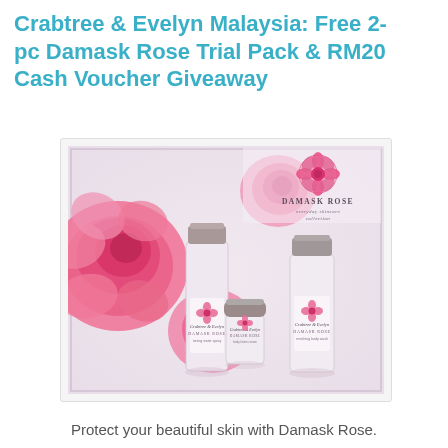Crabtree & Evelyn Malaysia: Free 2-pc Damask Rose Trial Pack & RM20 Cash Voucher Giveaway
[Figure (photo): Crabtree & Evelyn Damask Rose everyday skincare collection set showing three skincare bottles/jars with pink damask rose flowers in the background, on a pink-toned promotional background with a rose logo and 'DAMASK ROSE everyday skincare collection' text.]
Protect your beautiful skin with Damask Rose.